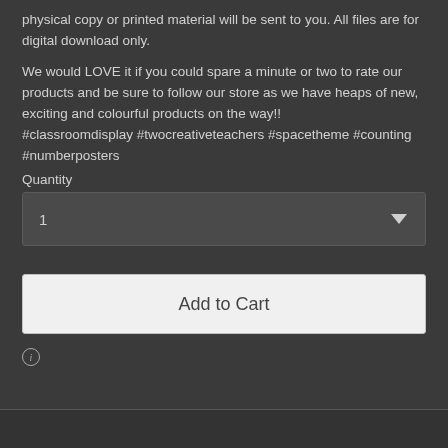physical copy or printed material will be sent to you. All files are for digital download only.
We would LOVE it if you could spare a minute or two to rate our products and be sure to follow our store as we have heaps of new, exciting and colourful products on the way!! #classroomdisplay #twocreativeteachers #spacetheme #counting #numberposters
Quantity
[Figure (other): Quantity selector dropdown showing value 1 with a down arrow]
[Figure (other): Add to Cart button]
[Figure (other): Info icon (circled i)]